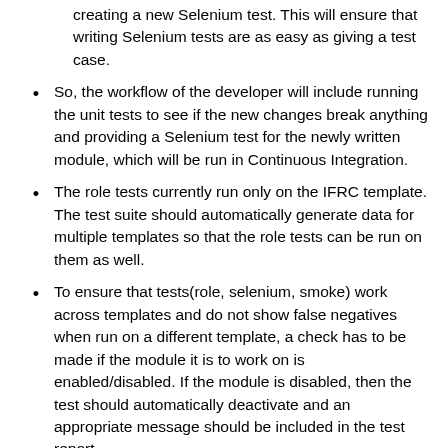creating a new Selenium test. This will ensure that writing Selenium tests are as easy as giving a test case.
So, the workflow of the developer will include running the unit tests to see if the new changes break anything and providing a Selenium test for the newly written module, which will be run in Continuous Integration.
The role tests currently run only on the IFRC template. The test suite should automatically generate data for multiple templates so that the role tests can be run on them as well.
To ensure that tests(role, selenium, smoke) work across templates and do not show false negatives when run on a different template, a check has to be made if the module it is to work on is enabled/disabled. If the module is disabled, then the test should automatically deactivate and an appropriate message should be included in the test report.
The load tests will test the amount of load Eden can take under normal and peak conditions. So,